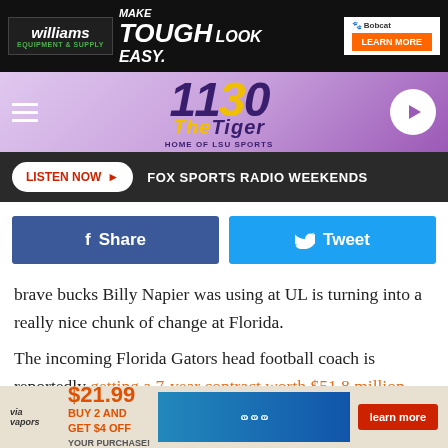[Figure (screenshot): Williams Equipment & Supply advertisement banner with Bobcat equipment, 'Make Tough Look Easy' slogan and 'Learn More' button]
[Figure (logo): 1130 The Tiger - Home of LSU Sports radio station logo on purple gradient background with play button]
LISTEN NOW ▶  FOX SPORTS RADIO WEEKENDS
[Figure (screenshot): Facebook Share button (blue) and Twitter Tweet button (cyan)]
brave bucks Billy Napier was using at UL is turning into a really nice chunk of change at Florida.
The incoming Florida Gators head football coach is reportedly getting a 7-year contract worth $51.8 million. That's an average annual salary of $7.4 a million year, and quite a nice bump up from the $2 million a year he was making with the Ragin' Cajuns.
[Figure (screenshot): Via Vapors advertisement: $21.99, Buy 2 and Get $4 Off Your Purchase, with Learn More button]